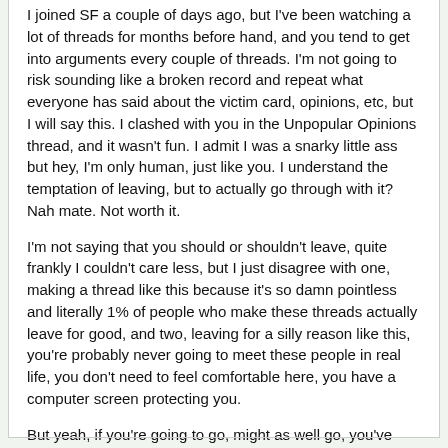I joined SF a couple of days ago, but I've been watching a lot of threads for months before hand, and you tend to get into arguments every couple of threads. I'm not going to risk sounding like a broken record and repeat what everyone has said about the victim card, opinions, etc, but I will say this. I clashed with you in the Unpopular Opinions thread, and it wasn't fun. I admit I was a snarky little ass but hey, I'm only human, just like you. I understand the temptation of leaving, but to actually go through with it? Nah mate. Not worth it.
I'm not saying that you should or shouldn't leave, quite frankly I couldn't care less, but I just disagree with one, making a thread like this because it's so damn pointless and literally 1% of people who make these threads actually leave for good, and two, leaving for a silly reason like this, you're probably never going to meet these people in real life, you don't need to feel comfortable here, you have a computer screen protecting you.
But yeah, if you're going to go, might as well go, you've made a thread, bit pointless to turn back now.
and I just completely went back on the beginning statement of my second paragraph yay I hate my life